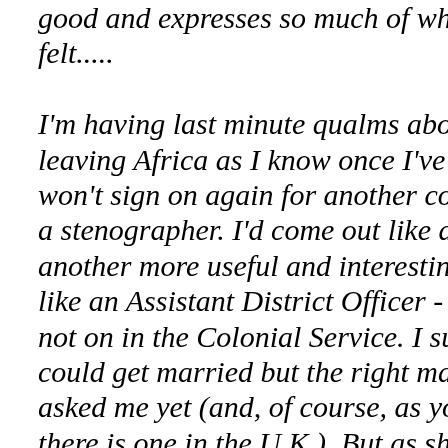good and expresses so much of what I have felt.....

I'm having last minute qualms about leaving Africa as I know once I've left I won't sign on again for another contract as a stenographer. I'd come out like a shot on another more useful and interesting job - like an Assistant District Officer - but that's not on in the Colonial Service. I suppose I could get married but the right man hasn't asked me yet (and, of course, as you know, there is one in the U.K.). But as short tours are coming in it wouldn't be as bad as two and a half years so who knows.... I'm rather dreading coming home in some ways and think it will be ages before I settle down but I shall get a job as soon as possible and, try not to think too much.